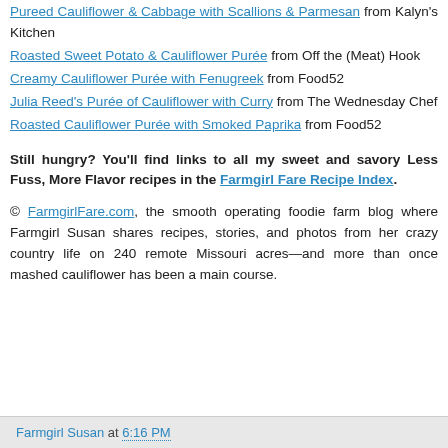Pureed Cauliflower & Cabbage with Scallions & Parmesan from Kalyn's Kitchen
Roasted Sweet Potato & Cauliflower Purée from Off the (Meat) Hook
Creamy Cauliflower Purée with Fenugreek from Food52
Julia Reed's Purée of Cauliflower with Curry from The Wednesday Chef
Roasted Cauliflower Purée with Smoked Paprika from Food52
Still hungry? You'll find links to all my sweet and savory Less Fuss, More Flavor recipes in the Farmgirl Fare Recipe Index.
© FarmgirlFare.com, the smooth operating foodie farm blog where Farmgirl Susan shares recipes, stories, and photos from her crazy country life on 240 remote Missouri acres—and more than once mashed cauliflower has been a main course.
Farmgirl Susan at 6:16 PM